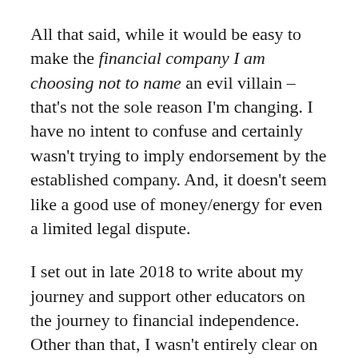All that said, while it would be easy to make the financial company I am choosing not to name an evil villain – that's not the sole reason I'm changing. I have no intent to confuse and certainly wasn't trying to imply endorsement by the established company. And, it doesn't seem like a good use of money/energy for even a limited legal dispute.
I set out in late 2018 to write about my journey and support other educators on the journey to financial independence. Other than that, I wasn't entirely clear on what I'd write, who would read it, or how it would be received. It certainly never occurred to me that I'd have actual readers and there was a potential name conflict with a financial company. Whoa...